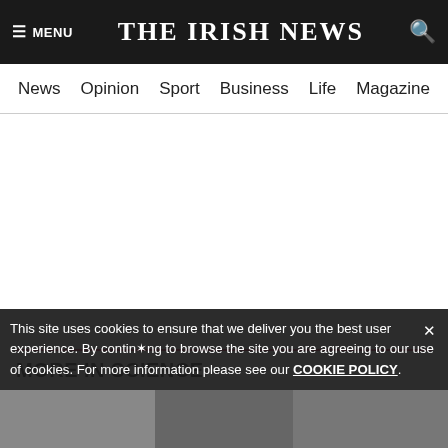THE IRISH NEWS
News Opinion Sport Business Life Magazine Arts
MORE IN SCIENCE
This site uses cookies to ensure that we deliver you the best user experience. By continuing to browse the site you are agreeing to our use of cookies. For more information please see our COOKIE POLICY.